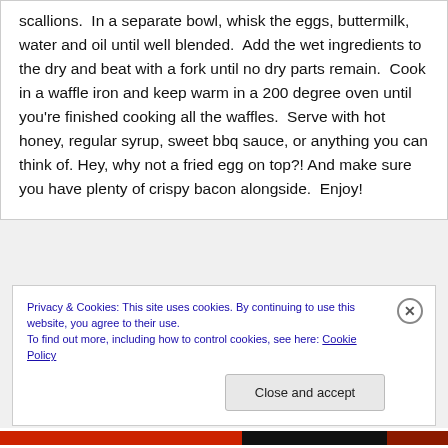scallions.  In a separate bowl, whisk the eggs, buttermilk, water and oil until well blended.  Add the wet ingredients to the dry and beat with a fork until no dry parts remain.  Cook in a waffle iron and keep warm in a 200 degree oven until you're finished cooking all the waffles.  Serve with hot honey, regular syrup, sweet bbq sauce, or anything you can think of. Hey, why not a fried egg on top?! And make sure you have plenty of crispy bacon alongside.  Enjoy!
Privacy & Cookies: This site uses cookies. By continuing to use this website, you agree to their use.
To find out more, including how to control cookies, see here: Cookie Policy
Close and accept